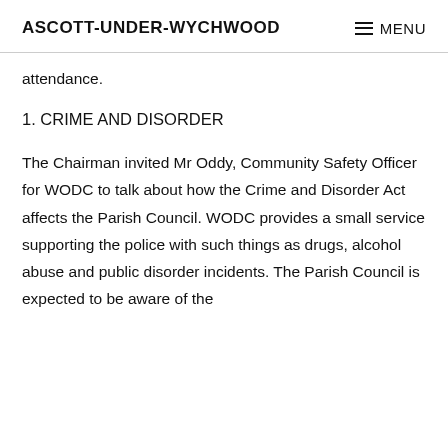ASCOTT-UNDER-WYCHWOOD   MENU
attendance.
1. CRIME AND DISORDER
The Chairman invited Mr Oddy, Community Safety Officer for WODC to talk about how the Crime and Disorder Act affects the Parish Council. WODC provides a small service supporting the police with such things as drugs, alcohol abuse and public disorder incidents. The Parish Council is expected to be aware of the